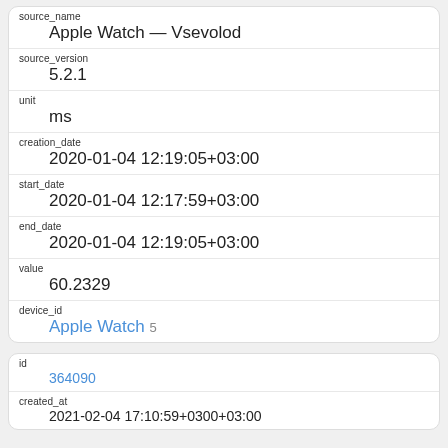| source_name | Apple Watch — Vsevolod |
| source_version | 5.2.1 |
| unit | ms |
| creation_date | 2020-01-04 12:19:05+03:00 |
| start_date | 2020-01-04 12:17:59+03:00 |
| end_date | 2020-01-04 12:19:05+03:00 |
| value | 60.2329 |
| device_id | Apple Watch 5 |
| id | 364090 |
| created_at | 2021-02-04 17:10:59+0300+03:00 |